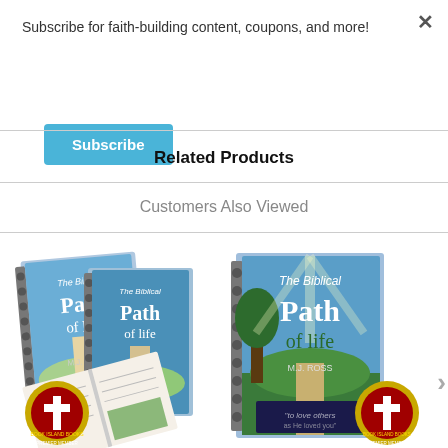Subscribe for faith-building content, coupons, and more!
Subscribe
Related Products
Customers Also Viewed
[Figure (photo): Two spiral-bound copies of 'The Biblical Path of Life' by M.J. Ross shown with an open book and a gold VIP award badge]
[Figure (photo): Single spiral-bound copy of 'The Biblical Path of Life' by M.J. Ross shown with a gold VIP award badge]